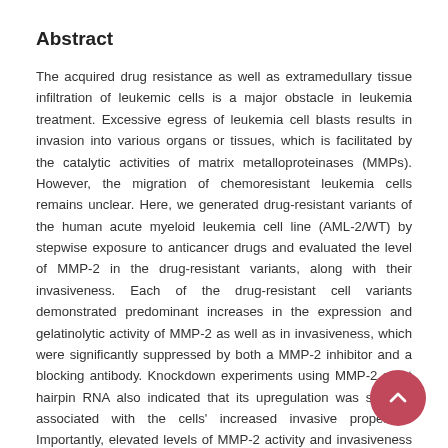Abstract
The acquired drug resistance as well as extramedullary tissue infiltration of leukemic cells is a major obstacle in leukemia treatment. Excessive egress of leukemia cell blasts results in invasion into various organs or tissues, which is facilitated by the catalytic activities of matrix metalloproteinases (MMPs). However, the migration of chemoresistant leukemia cells remains unclear. Here, we generated drug-resistant variants of the human acute myeloid leukemia cell line (AML-2/WT) by stepwise exposure to anticancer drugs and evaluated the level of MMP-2 in the drug-resistant variants, along with their invasiveness. Each of the drug-resistant cell variants demonstrated predominant increases in the expression and gelatinolytic activity of MMP-2 as well as in invasiveness, which were significantly suppressed by both a MMP-2 inhibitor and a blocking antibody. Knockdown experiments using MMP-2 short hairpin RNA also indicated that its upregulation was strongly associated with the cells' increased invasive properties. Importantly, elevated levels of MMP-2 activity and invasiveness were observed in ex vivo mononuclear cell of bone marrow from patients with poor responses to